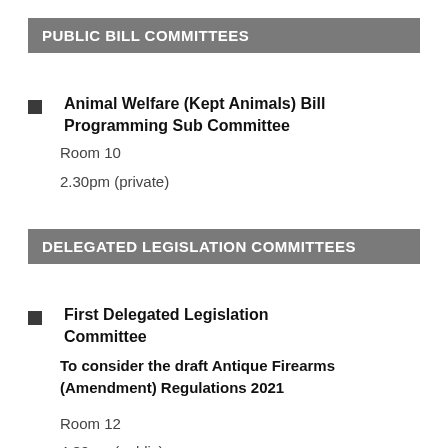PUBLIC BILL COMMITTEES
Animal Welfare (Kept Animals) Bill Programming Sub Committee
Room 10
2.30pm (private)
DELEGATED LEGISLATION COMMITTEES
First Delegated Legislation Committee
To consider the draft Antique Firearms (Amendment) Regulations 2021
Room 12
4.30pm (public)